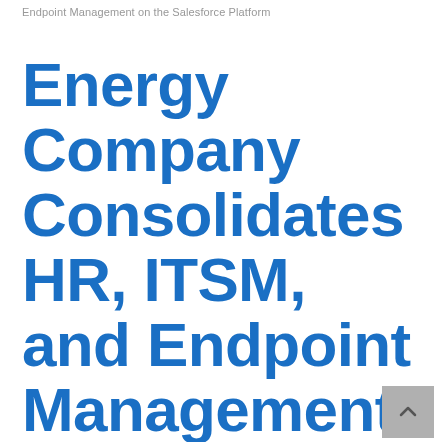Endpoint Management on the Salesforce Platform
Energy Company Consolidates HR, ITSM, and Endpoint Management on the Salesforce